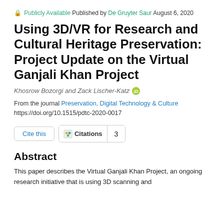🔒 Publicly Available  Published by De Gruyter Saur August 6, 2020
Using 3D/VR for Research and Cultural Heritage Preservation: Project Update on the Virtual Ganjali Khan Project
Khosrow Bozorgi and Zack Lischer-Katz [ORCID]
From the journal Preservation, Digital Technology & Culture
https://doi.org/10.1515/pdtc-2020-0017
Cite this  Citations  3
Abstract
This paper describes the Virtual Ganjali Khan Project, an ongoing research initiative that is using 3D scanning and